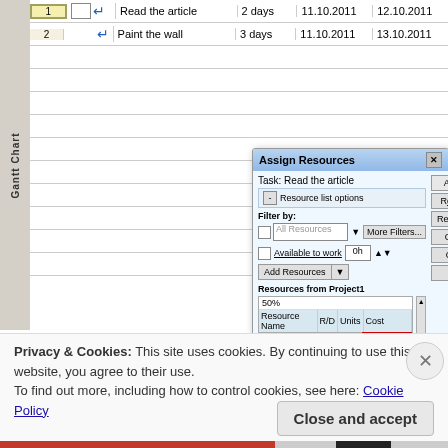[Figure (screenshot): Screenshot of Microsoft Project Gantt Chart view showing two tasks: 'Read the article' (2 days, 11.10.2011–12.10.2011) and 'Paint the wall' (3 days, 11.10.2011–13.10.2011), with an 'Assign Resources' dialog box open. The dialog shows Ann Smith assigned at 50% for $1,600.00 and John Doe listed. Buttons: Assign, Remove, Replace…, Graph, Close, Help.]
Privacy & Cookies: This site uses cookies. By continuing to use this website, you agree to their use.
To find out more, including how to control cookies, see here: Cookie Policy